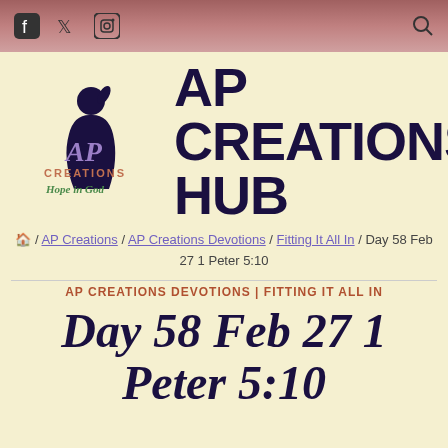AP Creations Hub — social icons header bar
[Figure (logo): AP Creations logo: silhouette of praying girl, purple AP text, CREATIONS in orange, Hope in God in green]
AP CREATIONS HUB
/ AP Creations / AP Creations Devotions / Fitting It All In / Day 58 Feb 27 1 Peter 5:10
AP CREATIONS DEVOTIONS | FITTING IT ALL IN
Day 58 Feb 27 1 Peter 5:10